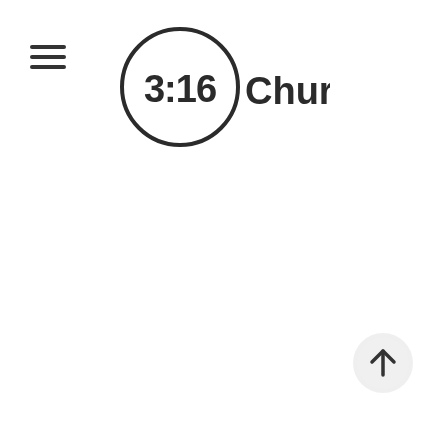[Figure (logo): 3:16 Church logo — a circle containing '3:16' in bold sans-serif numerals, followed by the word 'Church' in bold sans-serif text to the right of the circle.]
[Figure (other): Hamburger menu icon (three horizontal lines) in the upper left corner.]
[Figure (other): Circular scroll-to-top button in the lower right area, containing an upward-pointing arrow, with a light gray circular background.]